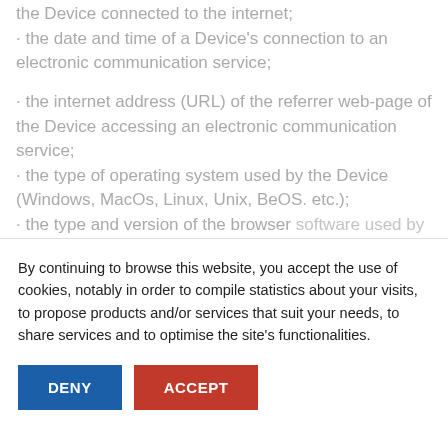the Device connected to the internet;
· the date and time of a Device's connection to an electronic communication service;
· the internet address (URL) of the referrer web-page of the Device accessing an electronic communication service;
· the type of operating system used by the Device (Windows, MacOs, Linux, Unix, BeOS. etc.);
· the type and version of the browser software used by the Device
By continuing to browse this website, you accept the use of cookies, notably in order to compile statistics about your visits, to propose products and/or services that suit your needs, to share services and to optimise the site's functionalities.
DENY | ACCEPT